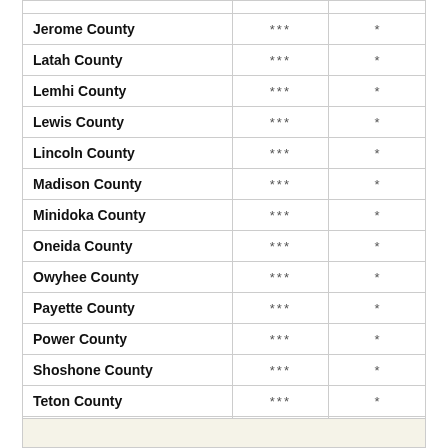|  |  |  |
| --- | --- | --- |
| Jerome County | *** | * |
| Latah County | *** | * |
| Lemhi County | *** | * |
| Lewis County | *** | * |
| Lincoln County | *** | * |
| Madison County | *** | * |
| Minidoka County | *** | * |
| Oneida County | *** | * |
| Owyhee County | *** | * |
| Payette County | *** | * |
| Power County | *** | * |
| Shoshone County | *** | * |
| Teton County | *** | * |
| Valley County | *** | * |
| Washington County | *** | * |